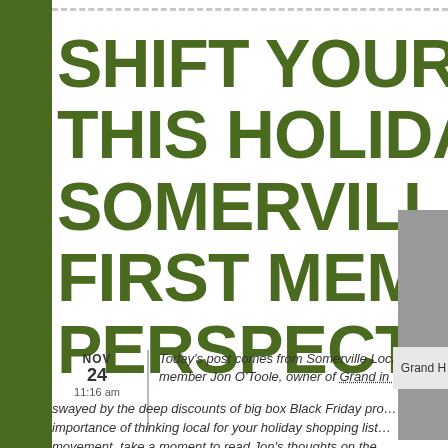SHIFT YOUR SHO… THIS HOLIDAY: SOMERVILLE LO… FIRST MEMBER… PERSPECTIVE
NOV 24 11:16 am | Today's post comes from Somerville Local First member Jon O'Toole, owner of Grand in Uni… swayed by the deep discounts of big box Black Friday pr… importance of thinking local for your holiday shopping list… movement, take a moment to read Jon's thoughts on the…